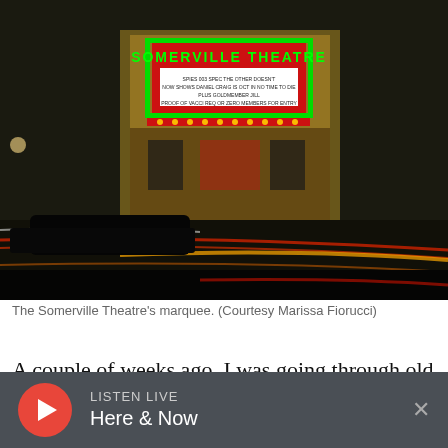[Figure (photo): Night photograph of the Somerville Theatre marquee lit up in neon green and red lights, with light trails from passing cars on the street in front.]
The Somerville Theatre's marquee. (Courtesy Marissa Fiorucci)
A couple of weeks ago, I was going through old emails from my other job and found a canceled
LISTEN LIVE
Here & Now